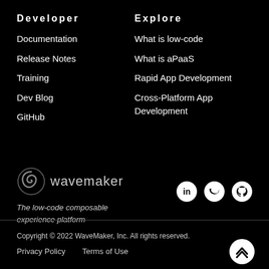Developer
Documentation
Release Notes
Training
Dev Blog
GitHub
Explore
What is low-code
What is aPaaS
Rapid App Development
Cross-Platform App Development
[Figure (logo): WaveMaker logo with spiral wave icon and wordmark]
The low-code composable experience platform
[Figure (infographic): Social media icons: LinkedIn, Twitter, GitHub]
Copyright © 2022 WaveMaker, Inc. All rights reserved.
Privacy Policy
Terms of Use